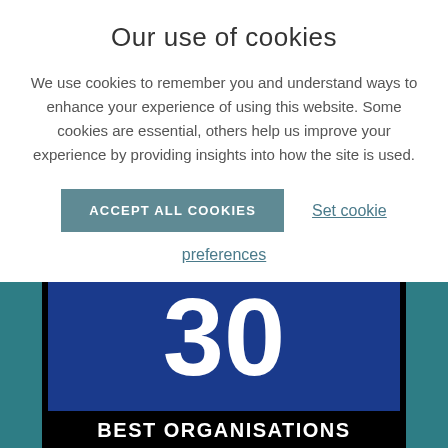Our use of cookies
We use cookies to remember you and understand ways to enhance your experience of using this website. Some cookies are essential, others help us improve your experience by providing insights into how the site is used.
ACCEPT ALL COOKIES
Set cookie preferences
[Figure (other): Award badge showing the number 30 in white on a blue background with 'BEST ORGANISATIONS' text on a black bar below, flanked by teal side panels]